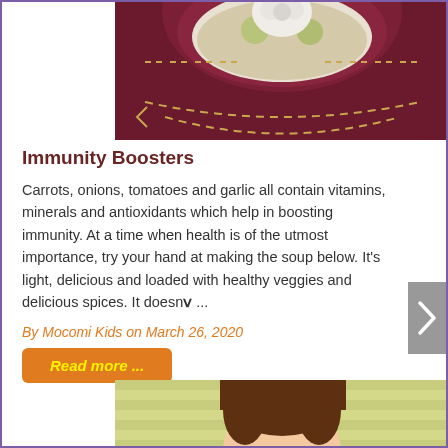[Figure (illustration): Top portion of a cartoon illustration showing a bowl of soup with vegetables on a dark maroon/burgundy background with decorative dashed stitching lines]
Immunity Boosters
Carrots, onions, tomatoes and garlic all contain vitamins, minerals and antioxidants which help in boosting immunity. At a time when health is of the utmost importance, try your hand at making the soup below. It's light, delicious and loaded with healthy veggies and delicious spices. It doesn ...
By Mocomi Kids on March 26, 2020
Read more ...
[Figure (illustration): Bottom portion showing the top of a cartoon character's head with brown hair against a light green/yellow striped background]